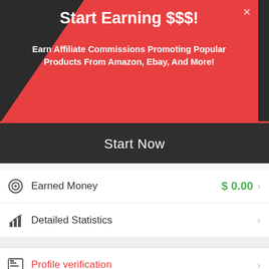Start Earning $$$!
Earn Affiliate Commissions Promoting Popular Products From Amazon, Ebay, And More!
Start Now
Earned Money  $ 0.00
Detailed Statistics
Profile verification
Model releases
Invite Friends